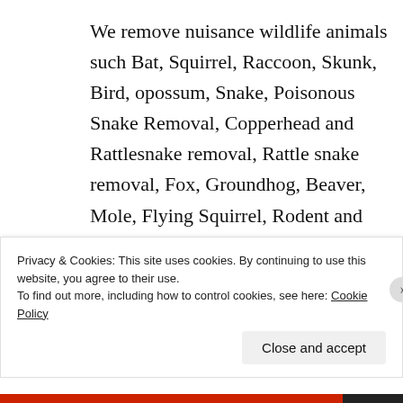We remove nuisance wildlife animals such Bat, Squirrel, Raccoon, Skunk, Bird, opossum, Snake, Poisonous Snake Removal, Copperhead and Rattlesnake removal, Rattle snake removal, Fox, Groundhog, Beaver, Mole, Flying Squirrel, Rodent and Coyote removal in Amarillo Texas
Privacy & Cookies: This site uses cookies. By continuing to use this website, you agree to their use.
To find out more, including how to control cookies, see here: Cookie Policy